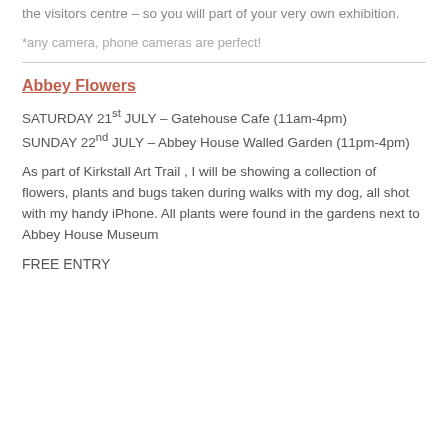the visitors centre – so you will part of your very own exhibition.
* any camera, phone cameras are perfect!
Abbey Flowers
SATURDAY 21st JULY – Gatehouse Cafe (11am-4pm) SUNDAY 22nd JULY – Abbey House Walled Garden (11pm-4pm)
As part of Kirkstall Art Trail , I will be showing a collection of flowers, plants and bugs taken during walks with my dog, all shot with my handy iPhone. All plants were found in the gardens next to Abbey House Museum
FREE ENTRY